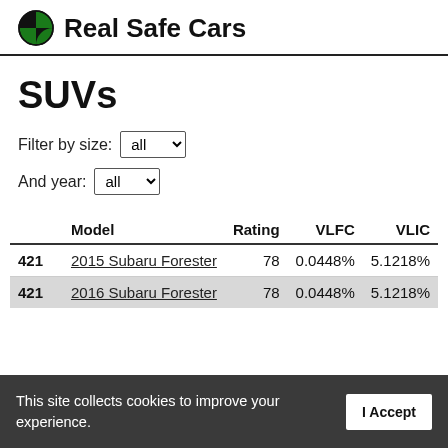Real Safe Cars
SUVs
Filter by size: all
And year: all
|  | Model | Rating | VLFC | VLIC |
| --- | --- | --- | --- | --- |
| 421 | 2015 Subaru Forester | 78 | 0.0448% | 5.1218% |
| 421 | 2016 Subaru Forester | 78 | 0.0448% | 5.1218% |
This site collects cookies to improve your experience.